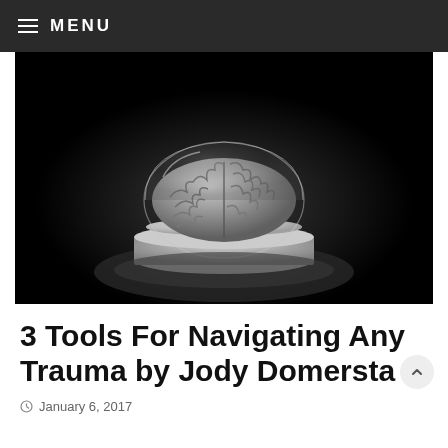≡ MENU
[Figure (photo): A human brain model encased in a glass dome sitting on a cylindrical stone or metal pedestal, photographed against a black background in black and white / grayscale.]
3 Tools For Navigating Any Trauma by Jody Domersta
January 6, 2017